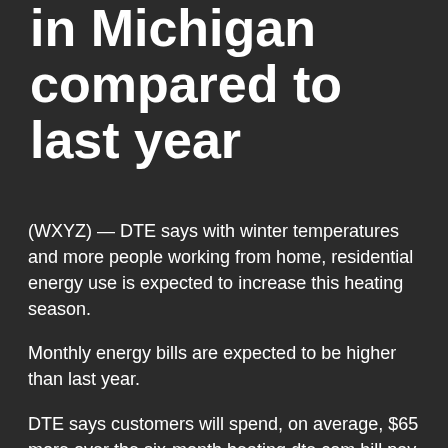in Michigan compared to last year
(WXYZ) — DTE says with winter temperatures and more people working from home, residential energy use is expected to increase this heating season.
Monthly energy bills are expected to be higher than last year.
DTE says customers will spend, on average, $65 more over the six-month heating dte com bill pay compared to the same period last year.
DTE is offering several payment assistance programs